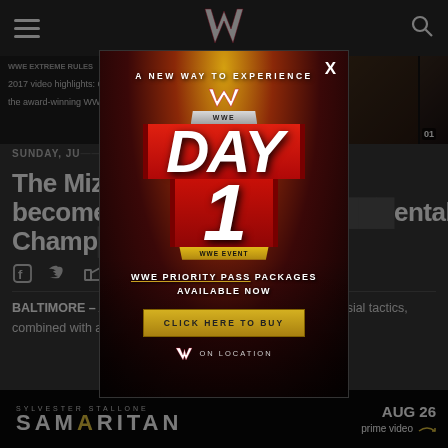WWE
[Figure (screenshot): WWE Extreme Rules 2017 video highlights strip with thumbnails showing timestamps 01:00, 01:04, 01]
WWE Extreme Rules 2017 video highlights: Courtesy of the award-winning WWE Network
SUNDAY, JU...
The Miz ... to become ... ental Champ...
BALTIMORE – At WWE Extreme Rules, The Miz's controversial tactics, combined with an accidental ...
[Figure (infographic): WWE Day 1 promotional modal overlay: A New Way To Experience. WWE Priority Pass Packages Available Now. Click Here To Buy. WWE On Location.]
[Figure (infographic): Bottom advertisement banner: Samaritan - Sylvester Stallone, Aug 26, Prime Video]